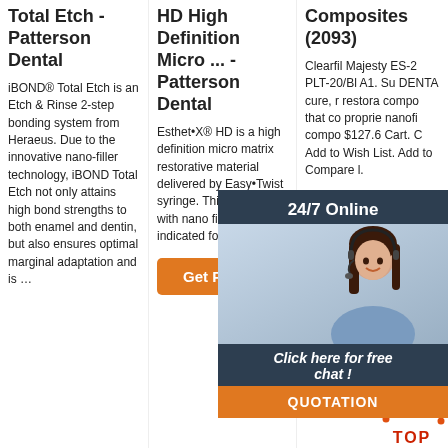Total Etch - Patterson Dental
iBOND® Total Etch is an Etch & Rinse 2-step bonding system from Heraeus. Due to the innovative nano-filler technology, iBOND Total Etch not only attains high bond strengths to both enamel and dentin, but also ensures optimal marginal adaptation and is ...
HD High Definition Micro ... - Patterson Dental
Esthet•X® HD is a high definition micro matrix restorative material delivered by Easy•Twist syringe. This composite with nano filler is indicated for all cavity …
[Figure (other): Orange 'Get Price' button]
Composites (2093)
Clearfil Majesty ES-2 PLT-20/Bl A1. Su DENTA cure, r restora compo that co proprie nanofi compo $127.6 Cart. C Add to Wish List. Add to Compare l.
[Figure (photo): 24/7 Online chat widget with woman wearing headset. Includes 'Click here for free chat!' text and QUOTATION button.]
[Figure (other): Orange 'Get Price' button for Composites column]
[Figure (other): TOP navigation button with orange dots decoration]